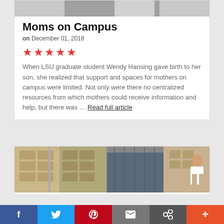[Figure (photo): Top portion of a black and white photo of a person, cropped at the top of the card]
Moms on Campus
on December 01, 2018
[Figure (other): Five red star rating icons]
When LSU graduate student Wendy Hansing gave birth to her son, she realized that support and spaces for mothers on campus were limited. Not only were there no centralized resources from which mothers could receive information and help, but there was … Read full article
[Figure (photo): Collage of four photos showing a clothing/storage room with boxes and hanging clothes, and a person browsing]
[Figure (other): Social sharing bar with Facebook, Twitter, Pinterest, Email, Link, and Plus buttons]